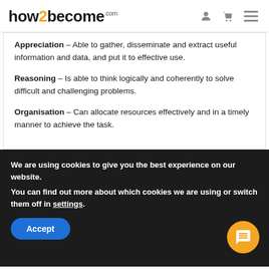how2become.com
Appreciation – Able to gather, disseminate and extract useful information and data, and put it to effective use.
Reasoning – Is able to think logically and coherently to solve difficult and challenging problems.
Organisation – Can allocate resources effectively and in a timely manner to achieve the task.
We are using cookies to give you the best experience on our website.
You can find out more about which cookies we are using or switch them off in settings.